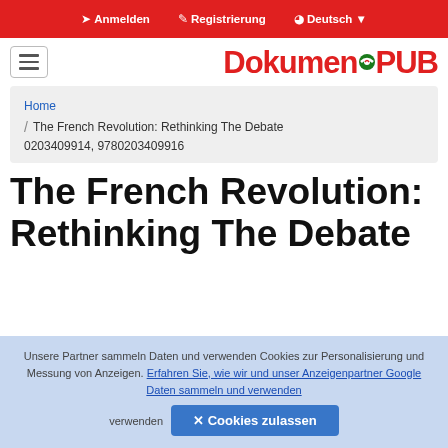➔ Anmelden   ✎ Registrierung   ◉ Deutsch
Dokumen.PUB
Home / The French Revolution: Rethinking The Debate 0203409914, 9780203409916
The French Revolution: Rethinking The Debate
Unsere Partner sammeln Daten und verwenden Cookies zur Personalisierung und Messung von Anzeigen. Erfahren Sie, wie wir und unser Anzeigenpartner Google Daten sammeln und verwenden   ✕ Cookies zulassen